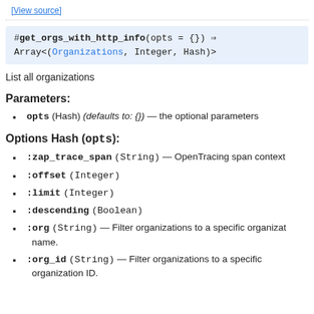[View source]
List all organizations
Parameters:
opts (Hash) (defaults to: {}) — the optional parameters
Options Hash (opts):
:zap_trace_span (String) — OpenTracing span context
:offset (Integer)
:limit (Integer)
:descending (Boolean)
:org (String) — Filter organizations to a specific organization name.
:org_id (String) — Filter organizations to a specific organization ID